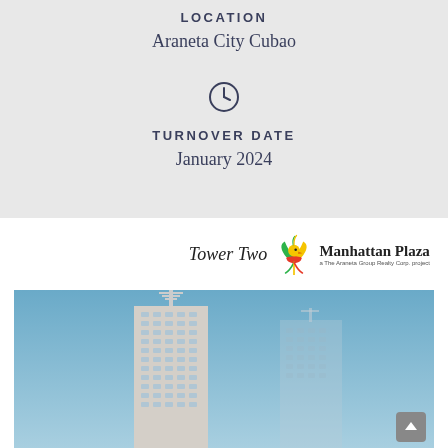LOCATION
Araneta City Cubao
TURNOVER DATE
January 2024
[Figure (logo): Tower Two Manhattan Plaza logo with colorful bird/phoenix graphic on the right side]
[Figure (photo): Architectural rendering of Tower Two Manhattan Plaza building against a blue sky, showing a tall residential tower with a second tower outline in the background]